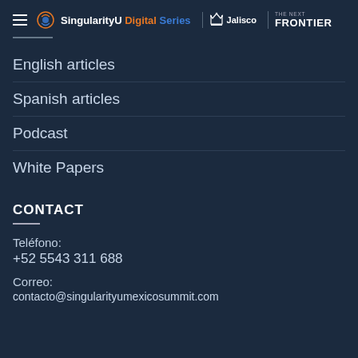SingularityU Digital Series | Jalisco | THE NEXT FRONTIER
English articles
Spanish articles
Podcast
White Papers
CONTACT
Teléfono:
+52 5543 311 688
Correo:
contacto@singularityumexicosummit.com